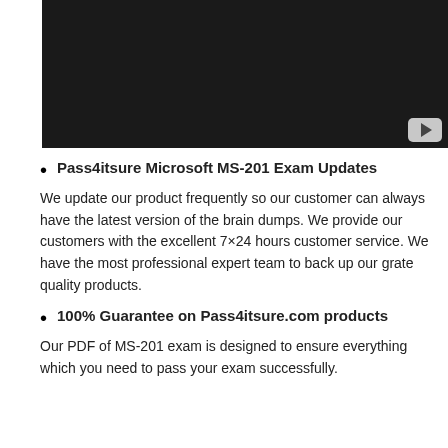[Figure (screenshot): Dark video player thumbnail with YouTube play button in bottom-right corner]
Pass4itsure Microsoft MS-201 Exam Updates
We update our product frequently so our customer can always have the latest version of the brain dumps. We provide our customers with the excellent 7×24 hours customer service. We have the most professional expert team to back up our grate quality products.
100% Guarantee on Pass4itsure.com products
Our PDF of MS-201 exam is designed to ensure everything which you need to pass your exam successfully.